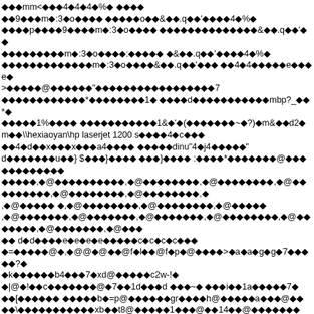Corrupted/encoded binary text content with diamond replacement characters mixed with ASCII text including: mm<[diamond]4[diamond]4[diamond]4[diamond]%[diamond] [diamond][diamond][diamond][diamond] and various encoded strings including references to \hexiaoyan\hp laserjet 1200 s and other garbled content